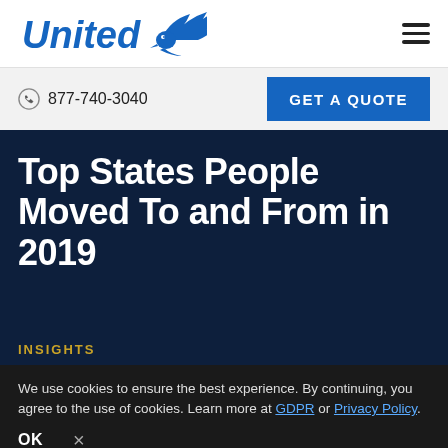United [logo] | hamburger menu
877-740-3040 | GET A QUOTE
Top States People Moved To and From in 2019
INSIGHTS
We use cookies to ensure the best experience. By continuing, you agree to the use of cookies. Learn more at GDPR or Privacy Policy. OK ×